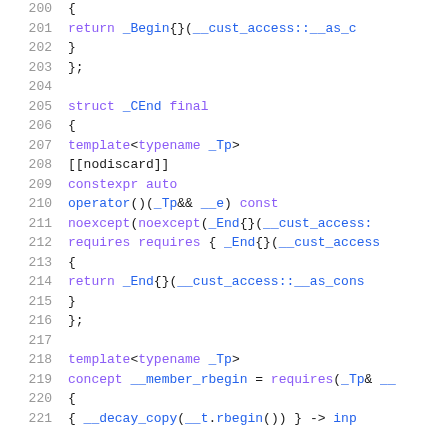Code listing lines 200-221 showing C++ source code with struct _CEnd and template definitions